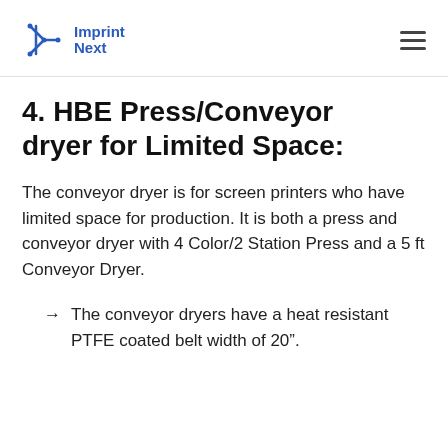Imprint Next
4. HBE Press/Conveyor dryer for Limited Space:
The conveyor dryer is for screen printers who have limited space for production. It is both a press and conveyor dryer with 4 Color/2 Station Press and a 5 ft Conveyor Dryer.
The conveyor dryers have a heat resistant PTFE coated belt width of 20".